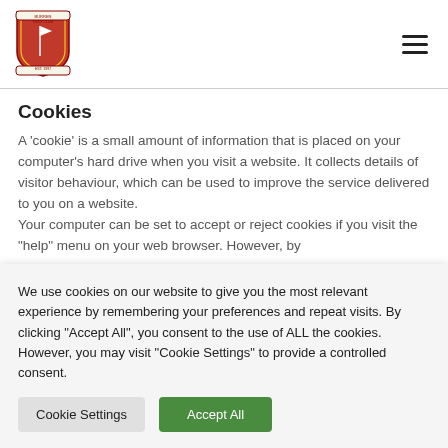[Figure (logo): Red shield-shaped logo with golf flag and banner, club crest]
Cookies
A 'cookie' is a small amount of information that is placed on your computer's hard drive when you visit a website. It collects details of visitor behaviour, which can be used to improve the service delivered to you on a website. Your computer can be set to accept or reject cookies if you visit the "help" menu on your web browser. However, by
We use cookies on our website to give you the most relevant experience by remembering your preferences and repeat visits. By clicking "Accept All", you consent to the use of ALL the cookies. However, you may visit "Cookie Settings" to provide a controlled consent.